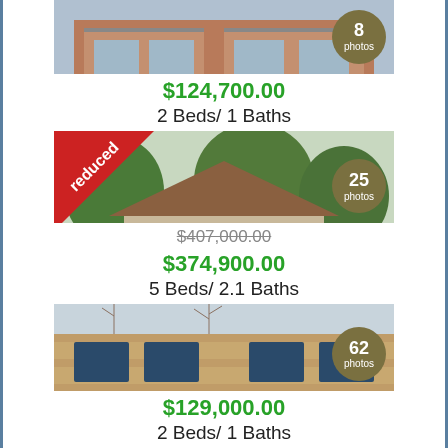[Figure (photo): Townhouse exterior photo with '8 photos' badge]
$124,700.00
2 Beds/ 1 Baths
[Figure (photo): Single-family home exterior with 'reduced' banner and '25 photos' badge]
$407,000.00 (strikethrough)
$374,900.00
5 Beds/ 2.1 Baths
[Figure (photo): Multi-unit apartment/condo exterior with '62 photos' badge]
$129,000.00
2 Beds/ 1 Baths